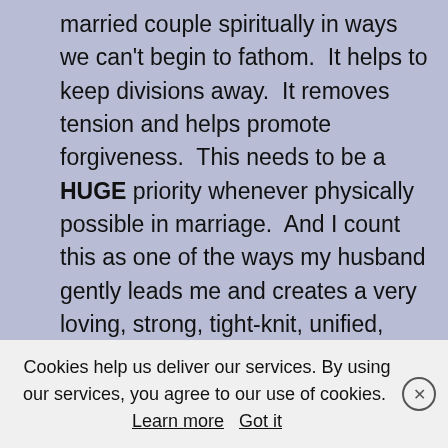married couple spiritually in ways we can't begin to fathom.  It helps to keep divisions away.  It removes tension and helps promote forgiveness.  This needs to be a HUGE priority whenever physically possible in marriage.  And I count this as one of the ways my husband gently leads me and creates a very loving, strong, tight-knit, unified, vibrant, flourishing marriage relationship.
Cookies help us deliver our services. By using our services, you agree to our use of cookies. Learn more  Got it